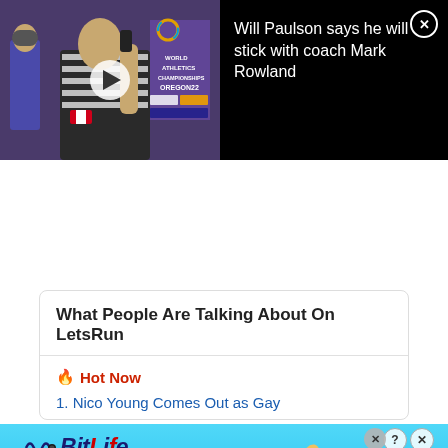[Figure (screenshot): Video thumbnail showing an athlete in a striped Canada singlet at a World Athletics Championships Oregon22 event, with a play button overlay. Black background panel to the right with headline text.]
Will Paulson says he will stick with coach Mark Rowland
What People Are Talking About On LetsRun
🔥 Hot Now
1. Nico Young Comes Out as Gay
[Figure (advertisement): BitLife app ad on cyan/light blue gradient background. Logo reads: BitLife - NOW WITH GOD MODE. Hand illustrations on right.]